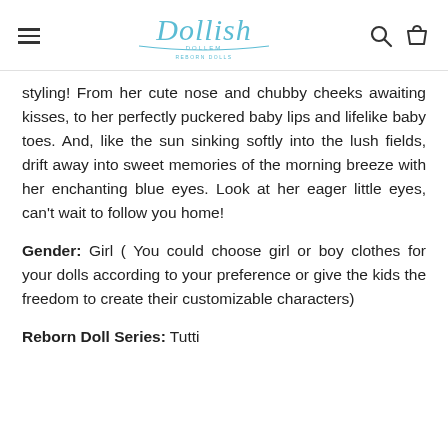Dollish — header with hamburger menu, logo, search and cart icons
styling! From her cute nose and chubby cheeks awaiting kisses, to her perfectly puckered baby lips and lifelike baby toes. And, like the sun sinking softly into the lush fields, drift away into sweet memories of the morning breeze with her enchanting blue eyes. Look at her eager little eyes, can't wait to follow you home!
Gender: Girl ( You could choose girl or boy clothes for your dolls according to your preference or give the kids the freedom to create their customizable characters)
Reborn Doll Series: Tutti